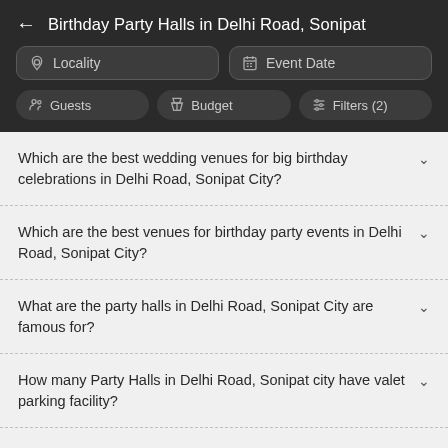Birthday Party Halls in Delhi Road, Sonipat
Locality
Event Date
Guests
Budget
Filters (2)
Which are the best wedding venues for big birthday celebrations in Delhi Road, Sonipat City?
Which are the best venues for birthday party events in Delhi Road, Sonipat City?
What are the party halls in Delhi Road, Sonipat City are famous for?
How many Party Halls in Delhi Road, Sonipat city have valet parking facility?